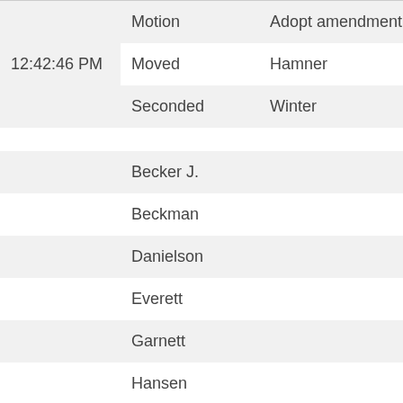| 12:42:46 PM | Motion | Adopt amendment J.002 |
|  | Moved | Hamner |
|  | Seconded | Winter |
|  |  |  |
|  | Becker J. |  |
|  | Beckman |  |
|  | Danielson |  |
|  | Everett |  |
|  | Garnett |  |
|  | Hansen |  |
|  | Kraft-Tharp |  |